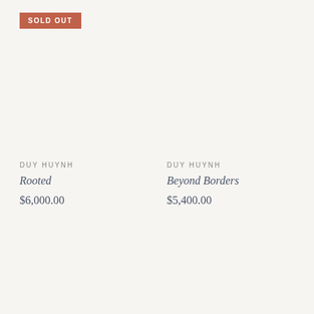SOLD OUT
DUY HUYNH
Rooted
$6,000.00
DUY HUYNH
Beyond Borders
$5,400.00